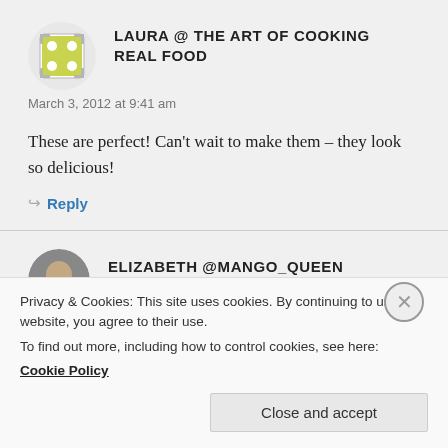[Figure (illustration): Green avatar icon with white dots pattern on grey circle background]
LAURA @ THE ART OF COOKING REAL FOOD
March 3, 2012 at 9:41 am
These are perfect! Can't wait to make them – they look so delicious!
Reply
[Figure (photo): Circular avatar photo of Elizabeth @Mango Queen]
ELIZABETH @MANGO_QUEEN
Privacy & Cookies: This site uses cookies. By continuing to use this website, you agree to their use.
To find out more, including how to control cookies, see here: Cookie Policy
Close and accept